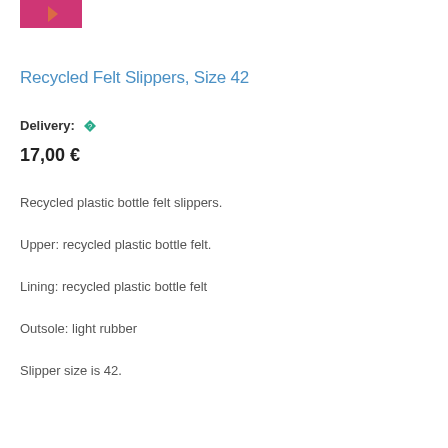[Figure (photo): Partial view of pink/magenta recycled felt slipper product image]
Recycled Felt Slippers, Size 42
Delivery: (green diamond icon)
17,00 €
Recycled plastic bottle felt slippers.
Upper: recycled plastic bottle felt.
Lining: recycled plastic bottle felt
Outsole: light rubber
Slipper size is 42.